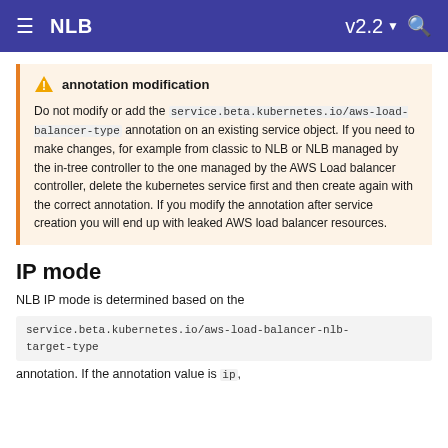NLB  v2.2
annotation modification
Do not modify or add the service.beta.kubernetes.io/aws-load-balancer-type annotation on an existing service object. If you need to make changes, for example from classic to NLB or NLB managed by the in-tree controller to the one managed by the AWS Load balancer controller, delete the kubernetes service first and then create again with the correct annotation. If you modify the annotation after service creation you will end up with leaked AWS load balancer resources.
IP mode
NLB IP mode is determined based on the
service.beta.kubernetes.io/aws-load-balancer-nlb-target-type
annotation. If the annotation value is ip,